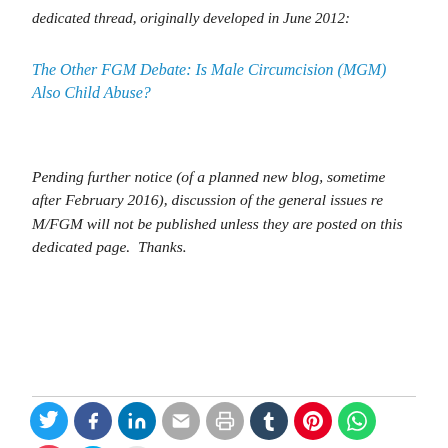dedicated thread, originally developed in June 2012:
The Other FGM Debate: Is Male Circumcision (MGM) Also Child Abuse?
Pending further notice (of a planned new blog, sometime after February 2016), discussion of the general issues re M/FGM will not be published unless they are posted on this dedicated page.  Thanks.
[Figure (other): Social sharing icons: Twitter, Facebook, LinkedIn, Email, Print, Tumblr, Pinterest, WhatsApp, Telegram, Skype, Reddit, Pocket]
Like
One blogger likes this.